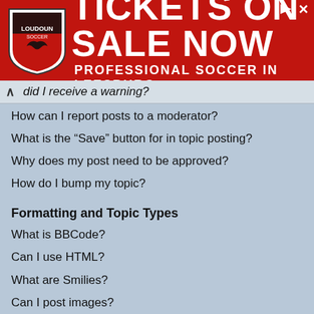[Figure (advertisement): Loudoun Soccer red banner advertisement: Tickets On Sale Now - Professional Soccer in Leesburg]
did I receive a warning?
How can I report posts to a moderator?
What is the “Save” button for in topic posting?
Why does my post need to be approved?
How do I bump my topic?
Formatting and Topic Types
What is BBCode?
Can I use HTML?
What are Smilies?
Can I post images?
What are global announcements?
What are announcements?
What are sticky topics?
What are locked topics?
What are topic icons?